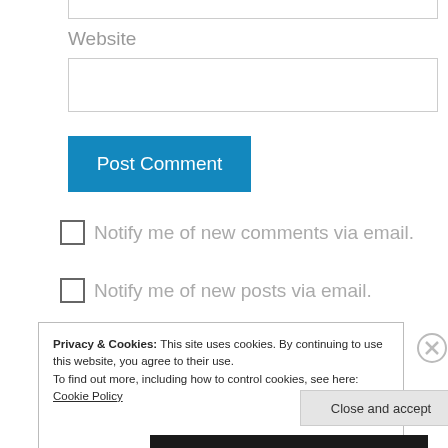Website
Post Comment
Notify me of new comments via email.
Notify me of new posts via email.
Privacy & Cookies: This site uses cookies. By continuing to use this website, you agree to their use.
To find out more, including how to control cookies, see here:
Cookie Policy
Close and accept